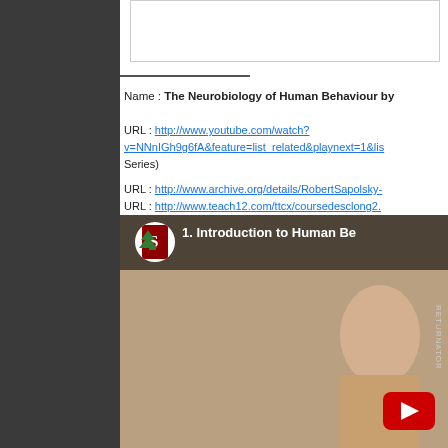Name : The Neurobiology of Human Behaviour by
URL : http://www.youtube.com/watch?v=NNnIGh9g6fA&feature=list_related&playnext=1&lis... Series)
URL : http://www.archive.org/details/RobertSapolsky-
URL : http://www.teach12.com/ttcx/coursedesclong2.
[Figure (screenshot): YouTube video thumbnail showing Stanford University logo and title '1. Introduction to Human Be...' with a person visible and YouTube play button overlay]